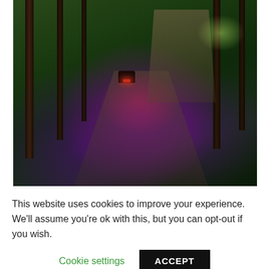[Figure (photo): Aerial photograph of a dark SUV/car on a forest dirt road at dusk or night, with vivid red and purple light emanating from the vehicle's taillights illuminating the path below. Tall pine trees frame the scene. A sunlit clearing is visible in the upper right.]
This website uses cookies to improve your experience. We'll assume you're ok with this, but you can opt-out if you wish.
Cookie settings
ACCEPT